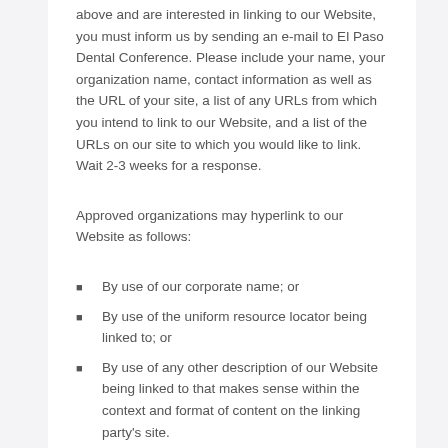above and are interested in linking to our Website, you must inform us by sending an e-mail to El Paso Dental Conference. Please include your name, your organization name, contact information as well as the URL of your site, a list of any URLs from which you intend to link to our Website, and a list of the URLs on our site to which you would like to link. Wait 2-3 weeks for a response.
Approved organizations may hyperlink to our Website as follows:
By use of our corporate name; or
By use of the uniform resource locator being linked to; or
By use of any other description of our Website being linked to that makes sense within the context and format of content on the linking party's site.